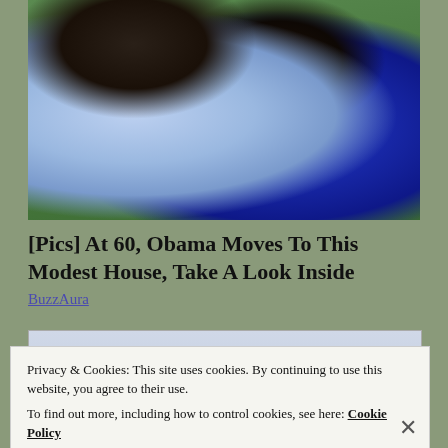[Figure (photo): Two people wearing sunglasses outdoors with green foliage in background. Man on left in blue checkered shirt, woman on right in dark blue top.]
[Pics] At 60, Obama Moves To This Modest House, Take A Look Inside
BuzzAura
[Figure (photo): Partially visible second photo, mostly obscured by cookie banner.]
Privacy & Cookies: This site uses cookies. By continuing to use this website, you agree to their use.
To find out more, including how to control cookies, see here: Cookie Policy
Close and accept